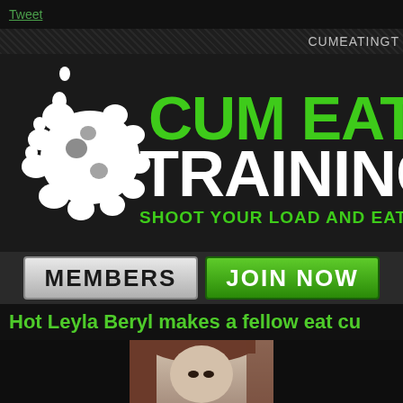Tweet
CUMEATINGT
[Figure (logo): Cum Eating Training logo with white splat graphic and green/white bold text. Subtitle: SHOOT YOUR LOAD AND EAT IT FOR ME]
[Figure (infographic): Navigation bar with MEMBERS button (gray) and JOIN NOW button (green)]
Hot Leyla Beryl makes a fellow eat cu
[Figure (photo): Partial photo of a woman with brown/auburn hair looking toward camera]